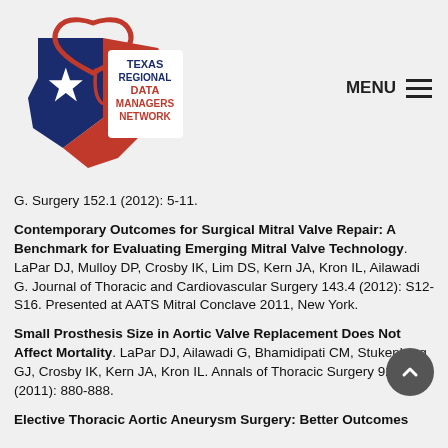[Figure (logo): Texas Regional Data Managers Network logo — Texas state shape in red and blue with a white star, overlaid with a red heart outline and stethoscope]
G. Surgery 152.1 (2012): 5-11.
Contemporary Outcomes for Surgical Mitral Valve Repair: A Benchmark for Evaluating Emerging Mitral Valve Technology. LaPar DJ, Mulloy DP, Crosby IK, Lim DS, Kern JA, Kron IL, Ailawadi G. Journal of Thoracic and Cardiovascular Surgery 143.4 (2012): S12-S16. Presented at AATS Mitral Conclave 2011, New York.
Small Prosthesis Size in Aortic Valve Replacement Does Not Affect Mortality. LaPar DJ, Ailawadi G, Bhamidipati CM, Stukenborg GJ, Crosby IK, Kern JA, Kron IL. Annals of Thoracic Surgery 92.3 (2011): 880-888.
Elective Thoracic Aortic Aneurysm Surgery: Better Outcomes